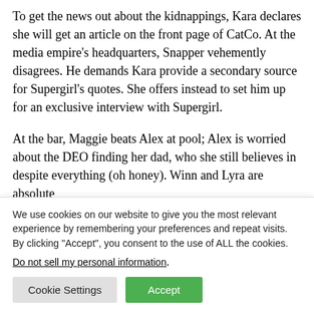To get the news out about the kidnappings, Kara declares she will get an article on the front page of CatCo. At the media empire's headquarters, Snapper vehemently disagrees. He demands Kara provide a secondary source for Supergirl's quotes. She offers instead to set him up for an exclusive interview with Supergirl.
At the bar, Maggie beats Alex at pool; Alex is worried about the DEO finding her dad, who she still believes in despite everything (oh honey). Winn and Lyra are absolute
We use cookies on our website to give you the most relevant experience by remembering your preferences and repeat visits. By clicking "Accept", you consent to the use of ALL the cookies.
Do not sell my personal information.